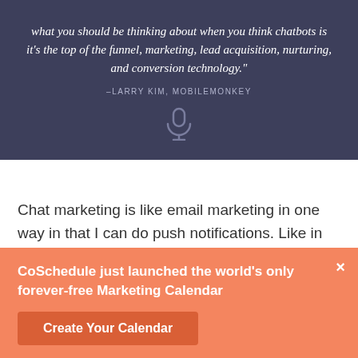[Figure (other): Dark blue-gray quote card with italic white text quote attributed to Larry Kim of MobileMonkey, with a microphone icon at the bottom]
Chat marketing is like email marketing in one way in that I can do push notifications. Like in email, the
CoSchedule just launched the world's only forever-free Marketing Calendar
Create Your Calendar